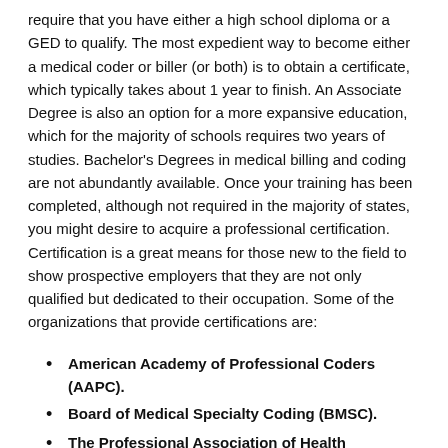require that you have either a high school diploma or a GED to qualify. The most expedient way to become either a medical coder or biller (or both) is to obtain a certificate, which typically takes about 1 year to finish. An Associate Degree is also an option for a more expansive education, which for the majority of schools requires two years of studies. Bachelor's Degrees in medical billing and coding are not abundantly available. Once your training has been completed, although not required in the majority of states, you might desire to acquire a professional certification. Certification is a great means for those new to the field to show prospective employers that they are not only qualified but dedicated to their occupation. Some of the organizations that provide certifications are:
American Academy of Professional Coders (AAPC).
Board of Medical Specialty Coding (BMSC).
The Professional Association of Health...